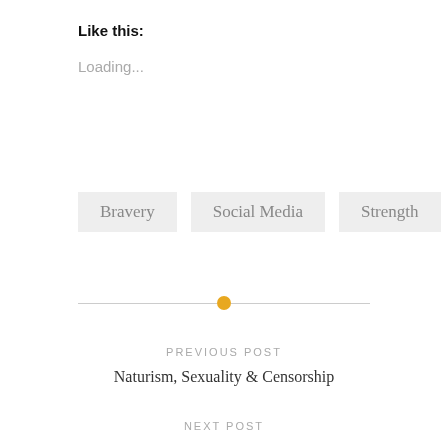Like this:
Loading...
Bravery
Social Media
Strength
PREVIOUS POST
Naturism, Sexuality & Censorship
NEXT POST